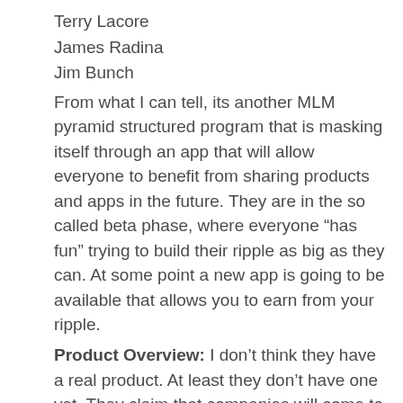Terry Lacore
James Radina
Jim Bunch
From what I can tell, its another MLM pyramid structured program that is masking itself through an app that will allow everyone to benefit from sharing products and apps in the future. They are in the so called beta phase, where everyone “has fun” trying to build their ripple as big as they can. At some point a new app is going to be available that allows you to earn from your ripple.
Product Overview: I don’t think they have a real product. At least they don’t have one yet. They claim that companies will come to them and pay them to market their products though the app and the ripples…rewarding everyone all the way down in some way for spreading the word.From the outside looking in… This sounds like a viable way to market a new product. My fear is that it will be a bunch of